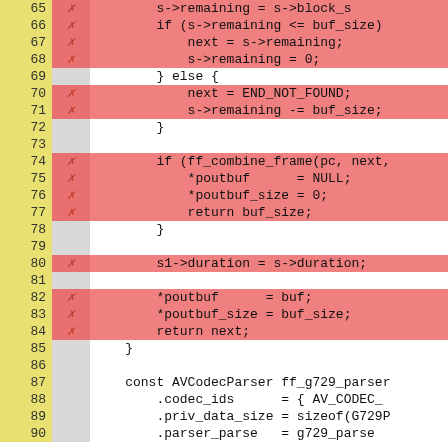[Figure (screenshot): Code coverage viewer showing C source code lines 65-90. Yellow left column shows line numbers. Gray/pink middle column shows coverage markers (X for covered). Right column shows source code with red/pink background for covered lines and white for uncovered lines.]